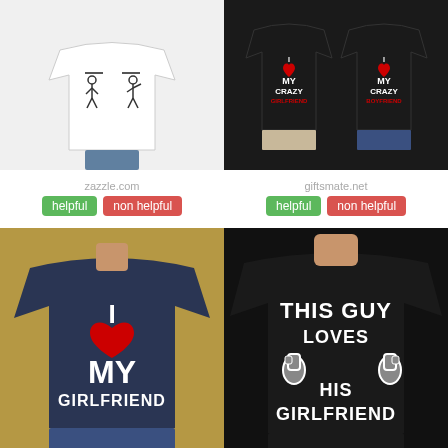[Figure (photo): White t-shirt with stick figure printed design worn by a person, product photo from zazzle.com]
[Figure (photo): Two people wearing black t-shirts with I Love My Crazy Girlfriend/Boyfriend text, from giftsmate.net]
zazzle.com
giftsmate.net
helpful
non helpful
helpful
non helpful
[Figure (photo): Man wearing navy blue t-shirt with I Love My Girlfriend text and red heart]
[Figure (photo): Man wearing black t-shirt with This Guy Loves His Girlfriend text and thumbs pointing design]